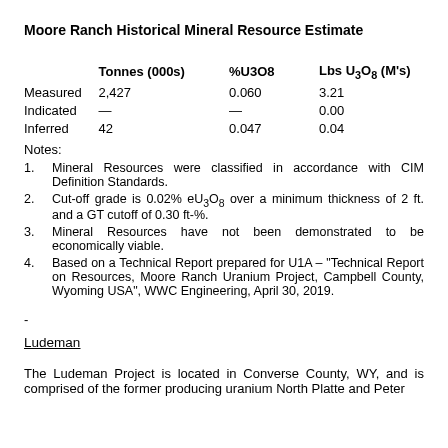Moore Ranch Historical Mineral Resource Estimate
|  | Tonnes (000s) | %U3O8 | Lbs U3O8 (M's) |
| --- | --- | --- | --- |
| Measured | 2,427 | 0.060 | 3.21 |
| Indicated | — | — | 0.00 |
| Inferred | 42 | 0.047 | 0.04 |
Notes:
1. Mineral Resources were classified in accordance with CIM Definition Standards.
2. Cut-off grade is 0.02% eU3O8 over a minimum thickness of 2 ft. and a GT cutoff of 0.30 ft-%.
3. Mineral Resources have not been demonstrated to be economically viable.
4. Based on a Technical Report prepared for U1A – "Technical Report on Resources, Moore Ranch Uranium Project, Campbell County, Wyoming USA", WWC Engineering, April 30, 2019.
-
Ludeman
The Ludeman Project is located in Converse County, WY, and is comprised of the former producing uranium North Platte and Peter...